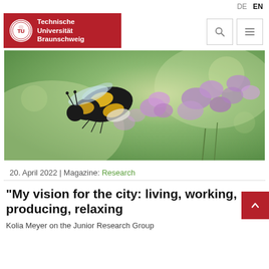[Figure (logo): Technische Universität Braunschweig logo with red background and circular crest]
[Figure (photo): Close-up photo of a bumblebee on purple wildflowers with a blurred green background]
20. April 2022 | Magazine: Research
“My vision for the city: living, working, producing, relaxing
Kolia Meyer on the Junior Research Group